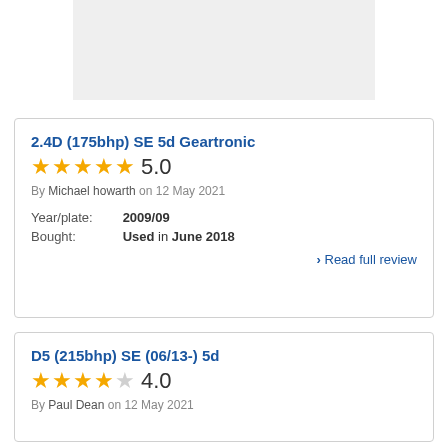[Figure (other): Gray placeholder image box at top of page]
2.4D (175bhp) SE 5d Geartronic
★★★★★ 5.0
By Michael howarth on 12 May 2021
Year/plate: 2009/09
Bought: Used in June 2018
> Read full review
D5 (215bhp) SE (06/13-) 5d
★★★★☆ 4.0
By Paul Dean on 12 May 2021